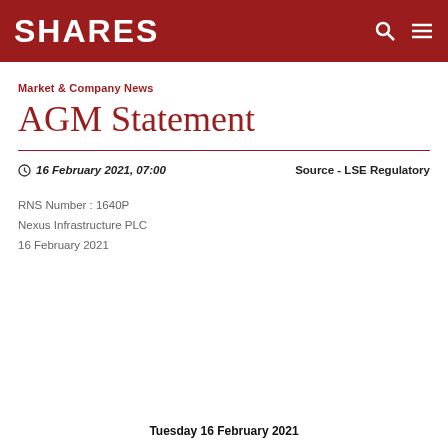SHARES
Market & Company News
AGM Statement
16 February 2021, 07:00   Source - LSE Regulatory
RNS Number : 1640P
Nexus Infrastructure PLC
16 February 2021
Tuesday 16 February 2021